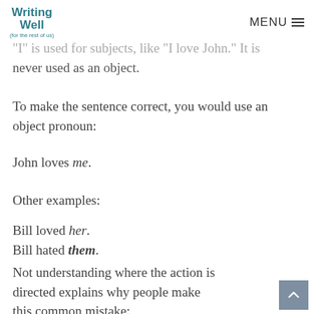Writing Well (for the rest of us) | MENU
"I" is used for subjects, like "I love John." It is never used as an object.
To make the sentence correct, you would use an object pronoun:
John loves me.
Other examples:
Bill loved her.
Bill hated them.
Not understanding where the action is directed explains why people make this common mistake:
She and him went to the mall.